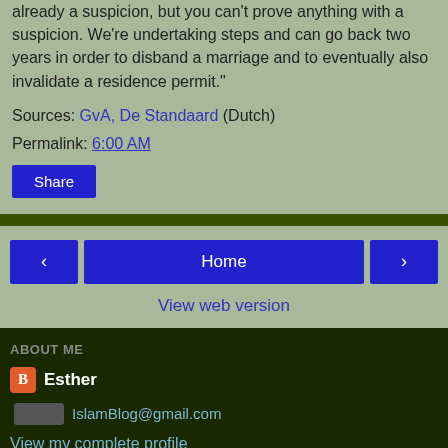already a suspicion, but you can't prove anything with a suspicion. We're undertaking steps and can go back two years in order to disband a marriage and to eventually also invalidate a residence permit."
Sources: GvA, De Standaard (Dutch)
Permalink: 6:00 AM
Share
‹
Home
›
View web version
ABOUT ME
Esther
IslamBlog@gmail.com
View my complete profile
Powered by Blogger